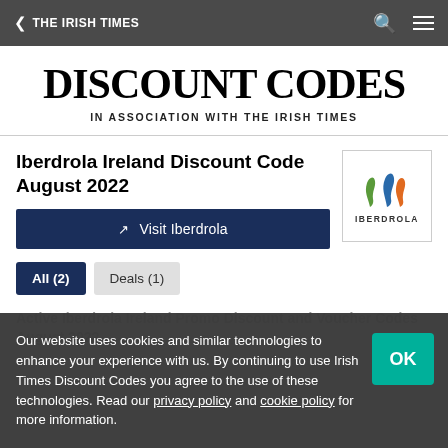THE IRISH TIMES
DISCOUNT CODES
IN ASSOCIATION WITH THE IRISH TIMES
Iberdrola Ireland Discount Code August 2022
[Figure (logo): Iberdrola logo with three coloured flame/leaf shapes (green, blue, orange) above the text IBERDROLA]
Visit Iberdrola
All (2)
Deals (1)
Our website uses cookies and similar technologies to enhance your experience with us. By continuing to use Irish Times Discount Codes you agree to the use of these technologies. Read our privacy policy and cookie policy for more information.